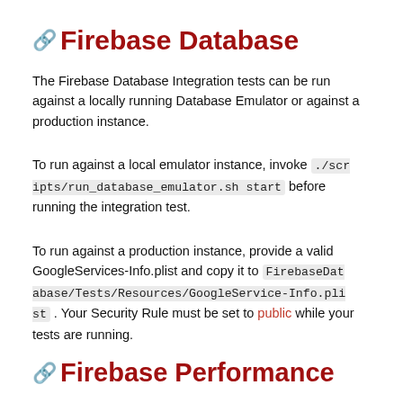🔗 Firebase Database
The Firebase Database Integration tests can be run against a locally running Database Emulator or against a production instance.
To run against a local emulator instance, invoke ./scripts/run_database_emulator.sh start before running the integration test.
To run against a production instance, provide a valid GoogleServices-Info.plist and copy it to FirebaseDatabase/Tests/Resources/GoogleService-Info.plist . Your Security Rule must be set to public while your tests are running.
🔗 Firebase Performance